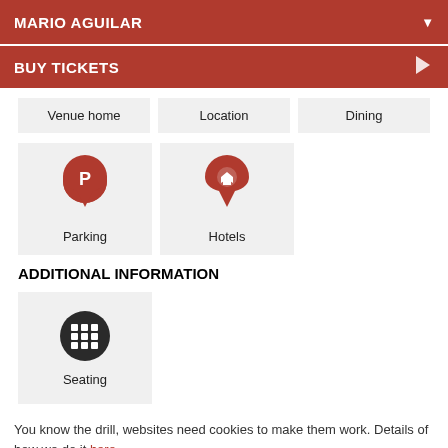MARIO AGUILAR
BUY TICKETS
Venue home
Location
Dining
[Figure (infographic): Map pin icon with P for Parking]
Parking
[Figure (infographic): Map pin icon with house icon for Hotels]
Hotels
ADDITIONAL INFORMATION
[Figure (infographic): Dark circle with grid/seating chart icon]
Seating
You know the drill, websites need cookies to make them work. Details of how we do it here.
Got it!